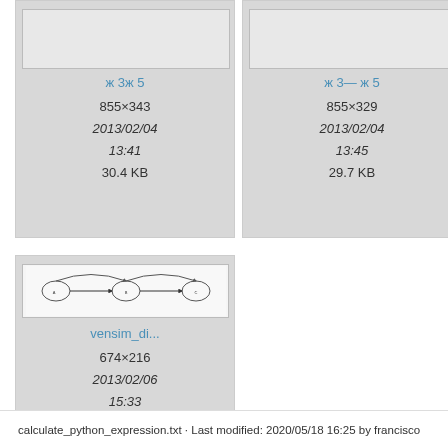[Figure (screenshot): Partial file card top-left showing 855×343, 2013/02/04, 13:41, 30.4 KB]
[Figure (screenshot): Partial file card top-middle showing 855×329, 2013/02/04, 13:45, 29.7 KB]
[Figure (screenshot): Partial file card top-right showing 570×..., 2013/0..., 17:1..., 25 K...]
[Figure (screenshot): File card for vensim_di... showing thumbnail diagram, 674×216, 2013/02/06, 15:33, 21.8 KB]
calculate_python_expression.txt · Last modified: 2020/05/18 16:25 by francisco